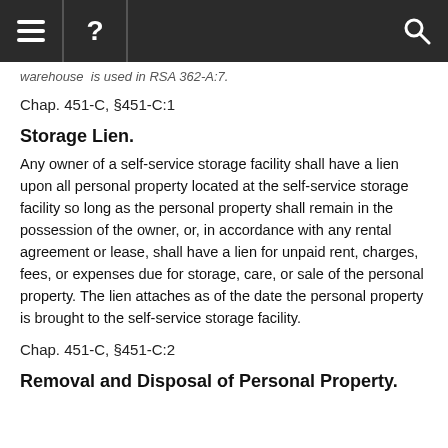≡  ?  🔍
warehouse  is used in RSA 362-A:7.
Chap. 451-C, §451-C:1
Storage Lien.
Any owner of a self-service storage facility shall have a lien upon all personal property located at the self-service storage facility so long as the personal property shall remain in the possession of the owner, or, in accordance with any rental agreement or lease, shall have a lien for unpaid rent, charges, fees, or expenses due for storage, care, or sale of the personal property. The lien attaches as of the date the personal property is brought to the self-service storage facility.
Chap. 451-C, §451-C:2
Removal and Disposal of Personal Property.